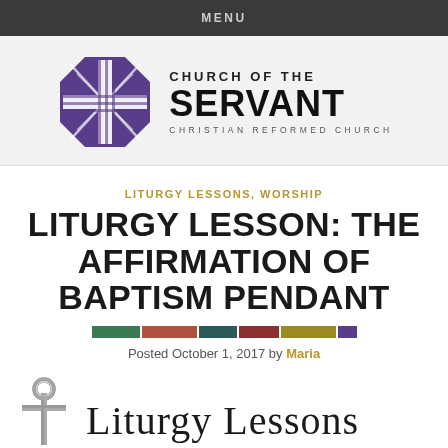MENU
[Figure (logo): Church of the Servant Christian Reformed Church logo with purple octagonal cross symbol]
LITURGY LESSONS, WORSHIP
LITURGY LESSON: THE AFFIRMATION OF BAPTISM PENDANT
[Figure (infographic): Decorative color bar with green, red/brown, dark teal, dark red, gold/olive, and purple segments]
Posted October 1, 2017 by Maria
[Figure (logo): Liturgy Lessons logo with a cross and ring icon next to the text 'Liturgy Lessons' in serif font]